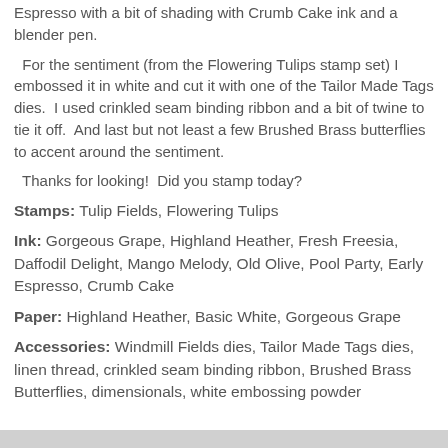Espresso with a bit of shading with Crumb Cake ink and a blender pen.
For the sentiment (from the Flowering Tulips stamp set) I embossed it in white and cut it with one of the Tailor Made Tags dies.  I used crinkled seam binding ribbon and a bit of twine to tie it off.  And last but not least a few Brushed Brass butterflies to accent around the sentiment.
Thanks for looking!  Did you stamp today?
Stamps: Tulip Fields, Flowering Tulips
Ink: Gorgeous Grape, Highland Heather, Fresh Freesia, Daffodil Delight, Mango Melody, Old Olive, Pool Party, Early Espresso, Crumb Cake
Paper: Highland Heather, Basic White, Gorgeous Grape
Accessories: Windmill Fields dies, Tailor Made Tags dies, linen thread, crinkled seam binding ribbon, Brushed Brass Butterflies, dimensionals, white embossing powder